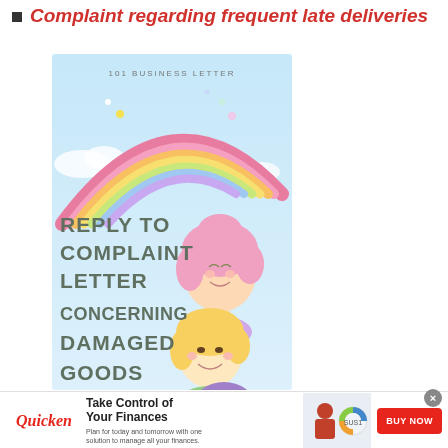Complaint regarding frequent late deliveries
[Figure (illustration): Book cover for '101 Business Letter: Reply to Complaint Letter Concerning Damaged Goods' featuring a rainbow and cartoon children illustrations on a light blue background]
[Figure (infographic): Quicken advertisement banner: 'Take Control of Your Finances - Plan for today and tomorrow with one solution to manage all your finances.' with BUY NOW button and close button]